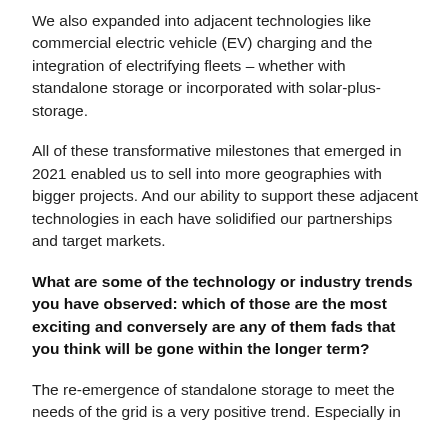We also expanded into adjacent technologies like commercial electric vehicle (EV) charging and the integration of electrifying fleets – whether with standalone storage or incorporated with solar-plus-storage.
All of these transformative milestones that emerged in 2021 enabled us to sell into more geographies with bigger projects. And our ability to support these adjacent technologies in each have solidified our partnerships and target markets.
What are some of the technology or industry trends you have observed: which of those are the most exciting and conversely are any of them fads that you think will be gone within the longer term?
The re-emergence of standalone storage to meet the needs of the grid is a very positive trend. Especially in